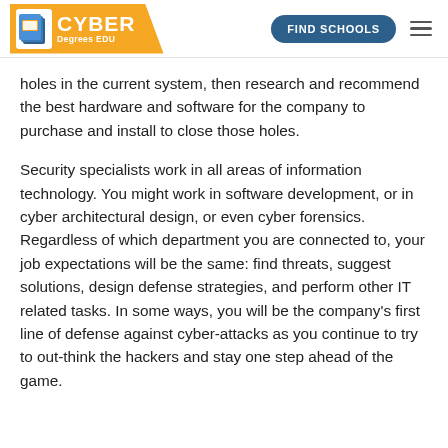CYBER Degrees EDU | FIND SCHOOLS
holes in the current system, then research and recommend the best hardware and software for the company to purchase and install to close those holes.
Security specialists work in all areas of information technology. You might work in software development, or in cyber architectural design, or even cyber forensics. Regardless of which department you are connected to, your job expectations will be the same: find threats, suggest solutions, design defense strategies, and perform other IT related tasks. In some ways, you will be the company's first line of defense against cyber-attacks as you continue to try to out-think the hackers and stay one step ahead of the game.